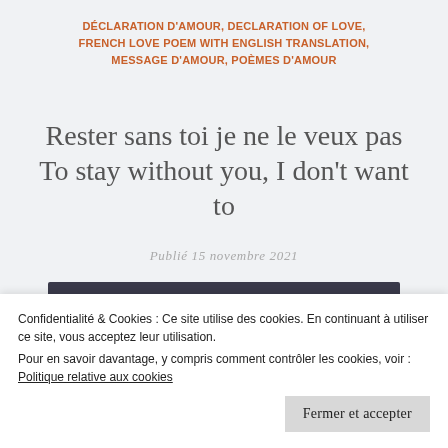DÉCLARATION D'AMOUR, DECLARATION OF LOVE, FRENCH LOVE POEM WITH ENGLISH TRANSLATION, MESSAGE D'AMOUR, POÈMES D'AMOUR
Rester sans toi je ne le veux pas To stay without you, I don't want to
Publié 15 novembre 2021
[Figure (screenshot): Video thumbnail showing a woman with blonde hair and the text 'Rester sans toi je ne le veux p...' on a dark background with a three-dot menu icon]
Confidentialité & Cookies : Ce site utilise des cookies. En continuant à utiliser ce site, vous acceptez leur utilisation.
Pour en savoir davantage, y compris comment contrôler les cookies, voir :
Politique relative aux cookies
Fermer et accepter